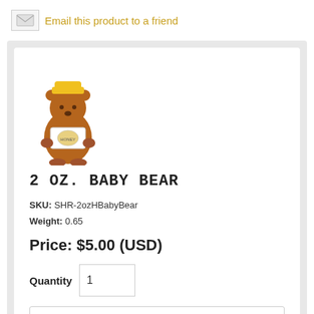Email this product to a friend
[Figure (photo): A small 2 oz honey bear-shaped bottle with a yellow cap and a label, filled with amber honey.]
2 OZ. BABY BEAR
SKU: SHR-2ozHBabyBear
Weight: 0.65
Price: $5.00 (USD)
Quantity 1
Variety